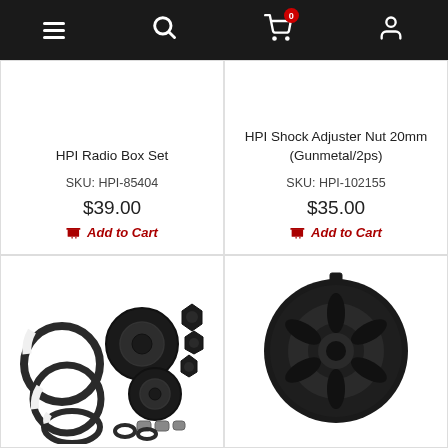Navigation bar with menu, search, cart (0 items), and user icons
HPI Radio Box Set
SKU: HPI-85404
$39.00
Add to Cart
HPI Shock Adjuster Nut 20mm (Gunmetal/2ps)
SKU: HPI-102155
$35.00
Add to Cart
[Figure (photo): Photo of HPI bearing/hardware set with snap rings, bearings, and small bolts on white background]
[Figure (photo): Photo of a black toothed gear/pinion on white background]